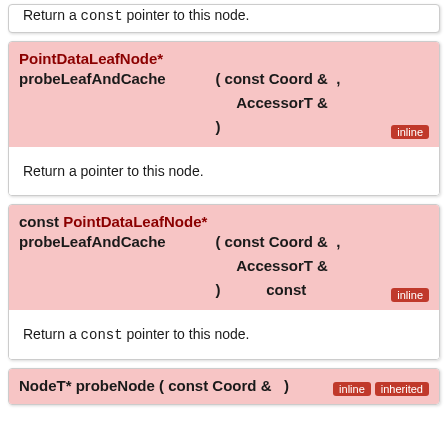Return a const pointer to this node.
PointDataLeafNode* probeLeafAndCache ( const Coord & , AccessorT & )  inline
Return a pointer to this node.
const PointDataLeafNode* probeLeafAndCache ( const Coord & , AccessorT & ) const  inline
Return a const pointer to this node.
NodeT* probeNode ( const Coord & )  inline  inherited